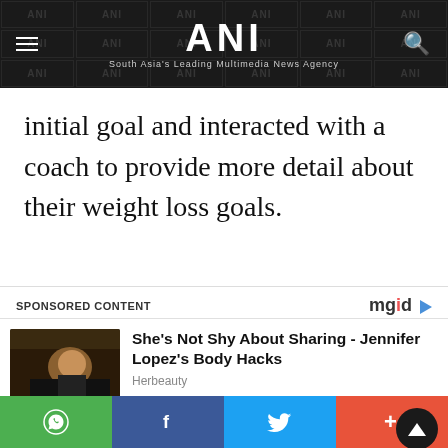ANI — South Asia's Leading Multimedia News Agency
initial goal and interacted with a coach to provide more detail about their weight loss goals.
SPONSORED CONTENT
[Figure (photo): Photo of a woman posing on a couch]
She's Not Shy About Sharing - Jennifer Lopez's Body Hacks
Herbeauty
[Figure (photo): Photo of an older woman with glasses]
Looking At Her Photos, Are We Sure She Is